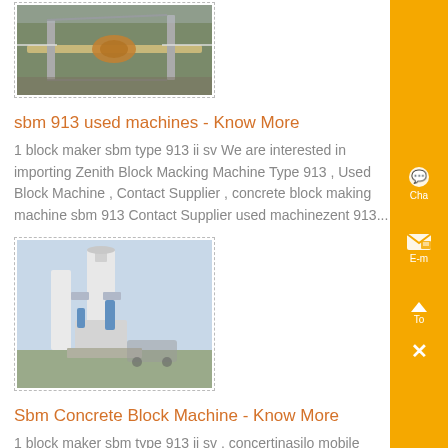[Figure (photo): Industrial machinery / conveyor belt equipment photo with dashed border frame]
sbm 913 used machines - Know More
1 block maker sbm type 913 ii sv We are interested in importing Zenith Block Macking Machine Type 913 , Used Block Machine , Contact Supplier , concrete block making machine sbm 913 Contact Supplier used machinezent 913...
[Figure (photo): Industrial grinding/milling machine equipment photo with dashed border frame]
Sbm Concrete Block Machine - Know More
1 block maker sbm type 913 ii sv , concertinasilo mobile